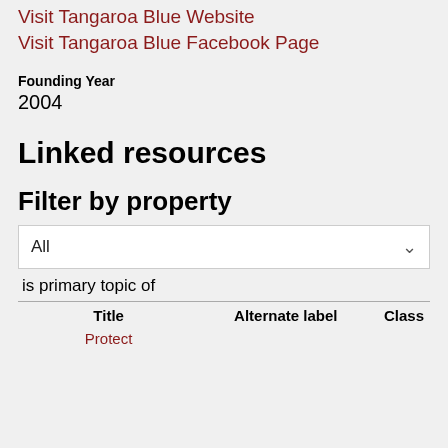Visit Tangaroa Blue Website
Visit Tangaroa Blue Facebook Page
Founding Year
2004
Linked resources
Filter by property
All
is primary topic of
| Title | Alternate label | Class |
| --- | --- | --- |
| Protect |  |  |